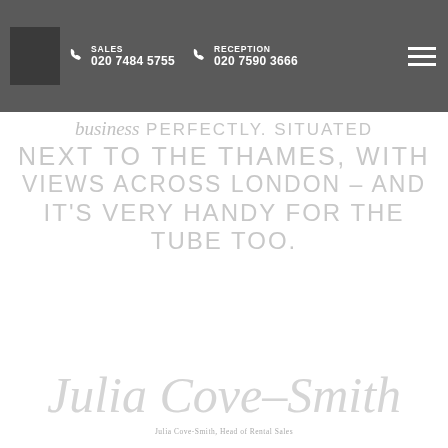SALES 020 7484 5755 | RECEPTION 020 7590 3666
business PERFECTLY SITUATED NEXT TO THE THAMES, WITH VIEWS ACROSS LONDON – AND IT'S VERY HANDY FOR THE TUBE TOO.
Julia Cove-Smith
Julia Cove-Smith, Head of Rental Sales